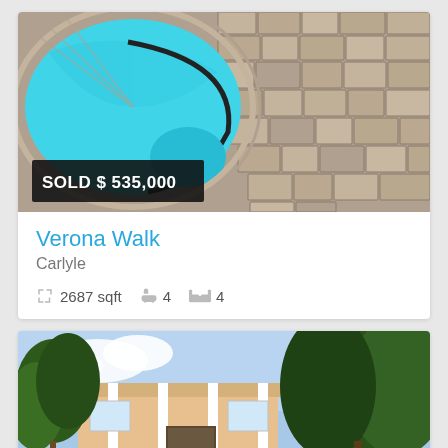[Figure (photo): Aerial view of a kidney-shaped swimming pool with turquoise water surrounded by stone/brick paver patio. Black overlay badge shows SOLD $535,000.]
Verona Walk
Carlyle
2687 sqft   4   4
[Figure (photo): Exterior photo of a house with orange/tan stucco, white columns under an overhang, and large green trees in front against a blue sky.]